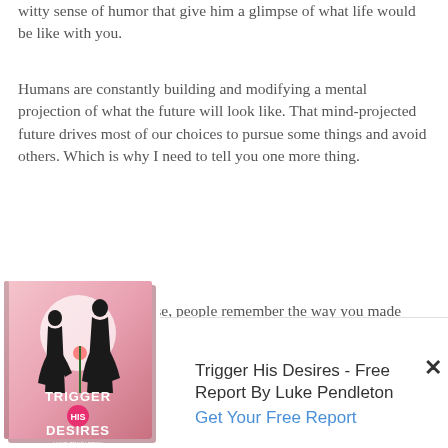witty sense of humor that give him a glimpse of what life would be like with you.
Humans are constantly building and modifying a mental projection of what the future will look like. That mind-projected future drives most of our choices to pursue some things and avoid others. Which is why I need to tell you one more thing.
More than anything else, people remember the way you made them feel. Even if he found you [attractive] and loved all your jokes, if he [felt] unattractive in your presence, his
[Figure (illustration): Book cover for 'Trigger His Desires' by Luke Pendleton, showing silhouettes of a man and woman against a pink/white background]
Trigger His Desires - Free Report By Luke Pendleton
Get Your Free Report